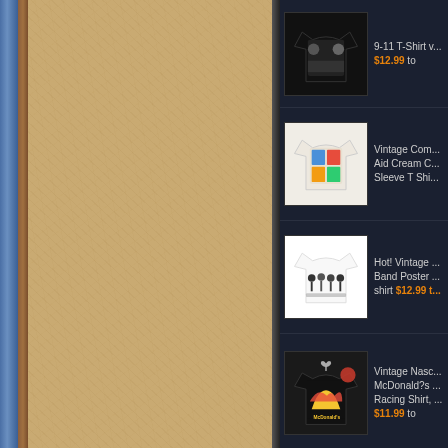[Figure (screenshot): Left panel with tan/cardboard textured background with blue denim left edge strip and brown border]
[Figure (screenshot): Product listing panel showing vintage t-shirts on dark background. Item 1: black t-shirt with faces, '9-11 T-Shirt v... $12.99 to'. Item 2: cream t-shirt with colorful print, 'Vintage Com... Aid Cream C... Sleeve T Shi...'. Item 3: white t-shirt with cartoon band figures, 'Hot! Vintage... Band Poster... shirt $12.99 t...'. Item 4: black t-shirt with McDonald's NASCAR print, 'Vintage Nasc... McDonald?s... Racing Shirt,... $11.99 to']